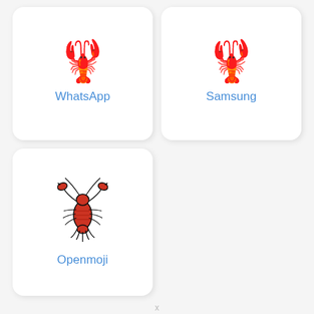[Figure (illustration): WhatsApp lobster emoji (red lobster facing left) inside a white rounded card]
WhatsApp
[Figure (illustration): Samsung lobster emoji (red lobster facing left) inside a white rounded card]
Samsung
[Figure (illustration): Openmoji lobster emoji (detailed red lobster, top-down view with claws raised) inside a white rounded card]
Openmoji